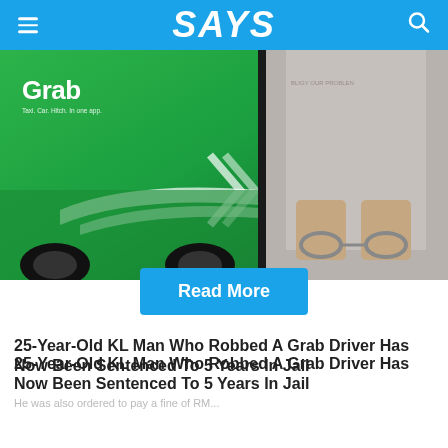SAYS
[Figure (photo): Left side: Green Grab-branded taxi car with white stripe livery and Grab logo. Right side: Person in handcuffs wearing grey hoodie, hands restrained with chain.]
25-Year-Old KL Man Who Robbed A Grab Driver Has Now Been Sentenced To 5 Years In Jail
He was also ordered to pay a fine of RM...